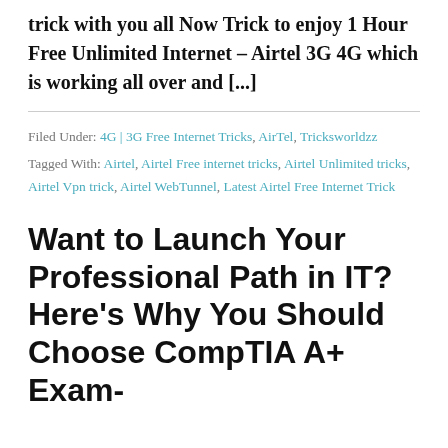trick with you all Now Trick to enjoy 1 Hour Free Unlimited Internet – Airtel 3G 4G which is working all over and [...]
Filed Under: 4G | 3G Free Internet Tricks, AirTel, Tricksworldzz
Tagged With: Airtel, Airtel Free internet tricks, Airtel Unlimited tricks, Airtel Vpn trick, Airtel WebTunnel, Latest Airtel Free Internet Trick
Want to Launch Your Professional Path in IT? Here's Why You Should Choose CompTIA A+ Exam- [cut off]